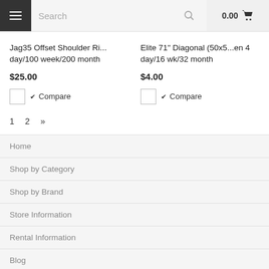Search | 0.00
Jag35 Offset Shoulder Ri... day/100 week/200 month
$25.00
✔ Compare
Elite 71" Diagonal (50x5...en 4 day/16 wk/32 month
$4.00
✔ Compare
1  2  »
Home
Shop by Category
Shop by Brand
Store Information
Rental Information
Blog
FAQs
Signup for our Newsletter